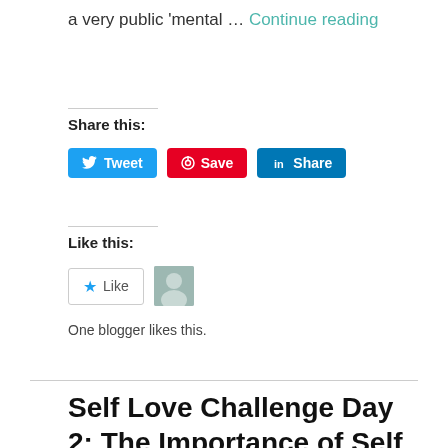a very public 'mental … Continue reading
Share this:
[Figure (screenshot): Social share buttons: Tweet (Twitter/blue), Save (Pinterest/red), Share (LinkedIn/blue)]
Like this:
[Figure (screenshot): Like button with star icon and a blogger avatar thumbnail]
One blogger likes this.
Self Love Challenge Day 2: The Importance of Self Love 🤗